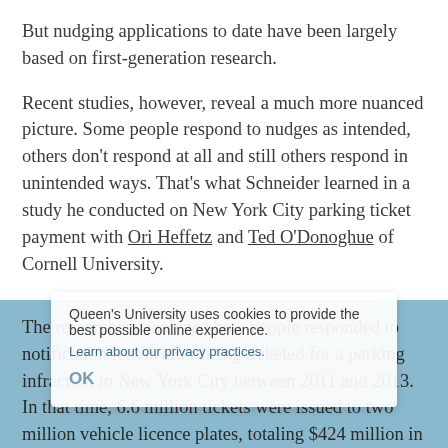But nudging applications to date have been largely based on first-generation research.
Recent studies, however, reveal a much more nuanced picture. Some people respond to nudges as intended, others don't respond at all and still others respond in unintended ways. That's what Schneider learned in a study he conducted on New York City parking ticket payment with Ori Heffetz and Ted O'Donoghue of Cornell University.
The researchers analyzed how people responded to notification letters after being ticketed for a parking infraction in New York City between 2011 and 2013. In that time, 6.6 million tickets were issued to two million vehicle licence plates, totaling $424 million in fines and $85 million in late penalties (lesson: when in the Big Apple, leave your car at home).